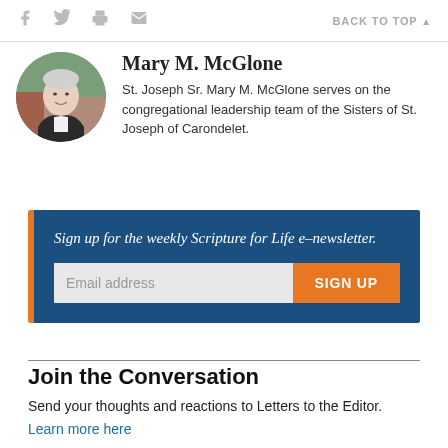BACK TO TOP
Mary M. McGlone
[Figure (photo): Circular portrait photo of Sr. Mary M. McGlone, an older woman with short white hair, wearing a dark jacket, smiling, with a brick wall and greenery in the background.]
St. Joseph Sr. Mary M. McGlone serves on the congregational leadership team of the Sisters of St. Joseph of Carondelet.
Sign up for the weekly Scripture for Life e–newsletter.
Email address
SIGN UP
Join the Conversation
Send your thoughts and reactions to Letters to the Editor.
Learn more here